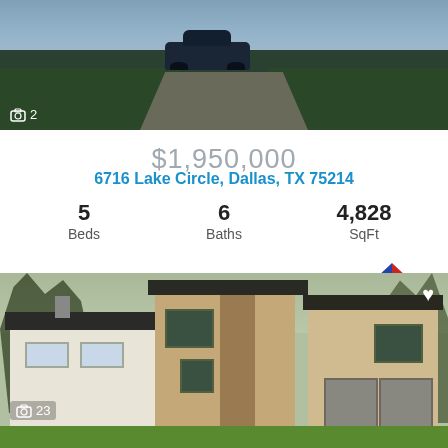[Figure (photo): Aerial/street view of a driveway with a dark car, green hedges and lawn, blue-grey sky]
📷 2
$1,950,000
6716 Lake Circle, Dallas, TX 75214
5 Beds   6 Baths   4,828 SqFt
Listing Provided By Kimberlee Gromatzky of Dave Perry Miller Real Estate
[Figure (photo): Modern two-story house exterior with tan/beige stucco, dark roof, two-car garage, green lawn, trees in background]
📷 23